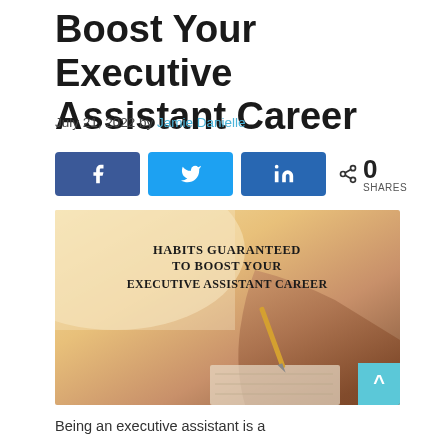Boost Your Executive Assistant Career
July 21, 2022 by Jamie Danielle
[Figure (infographic): Social share buttons: Facebook (blue), Twitter (blue), LinkedIn (dark blue), and a share count showing 0 SHARES]
[Figure (photo): Banner image with text 'HABITS GUARANTEED TO BOOST YOUR EXECUTIVE ASSISTANT CAREER' overlaid on a warm-toned photo of a hand writing in a notebook with a pen]
Being an executive assistant is a